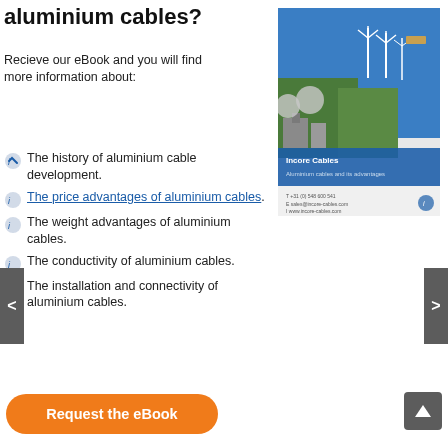aluminium cables?
Recieve our eBook and you will find more information about:
[Figure (illustration): eBook cover for Incore Cables - Aluminium cables and its advantages, showing aerial view of wind turbines and industrial facility near water]
The history of aluminium cable development.
The price advantages of aluminium cables.
The weight advantages of aluminium cables.
The conductivity of aluminium cables.
The installation and connectivity of aluminium cables.
Request the eBook